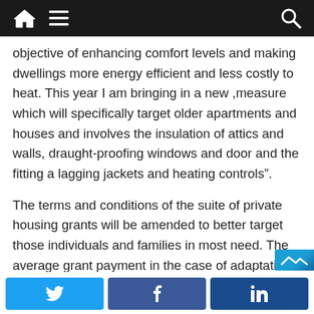Navigation bar with home, menu, and search icons
objective of enhancing comfort levels and making dwellings more energy efficient and less costly to heat.  This year I am bringing in a new ,measure which will specifically target older apartments and houses and involves the insulation of attics and walls, draught-proofing windows and door and the fitting a lagging jackets and heating controls”.
The terms and conditions of the suite of private housing grants will be amended to better target those individuals and families in most need.  The average grant payment in the case of adaptati
Share buttons: Twitter, Facebook, LinkedIn